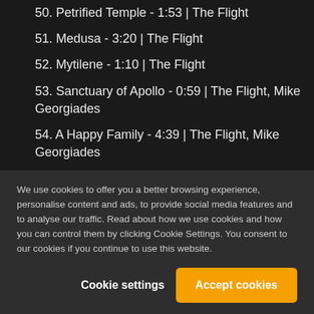50. Petrified Temple - 1:53 | The Flight
51. Medusa - 3:20 | The Flight
52. Mytilene - 1:10 | The Flight
53. Sanctuary of Apollo - 0:59 | The Flight, Mike Georgiades
54. A Happy Family - 4:39 | The Flight, Mike Georgiades
55. Passing the Torch - 1:44 | The Flight
56. Odyssey (Modern Version) - 4:01 | The Flight, Emma Rohan
We use cookies to offer you a better browsing experience, personalise content and ads, to provide social media features and to analyse our traffic. Read about how we use cookies and how you can control them by clicking Cookie Settings. You consent to our cookies if you continue to use this website.
Cookie settings | Accept cookies